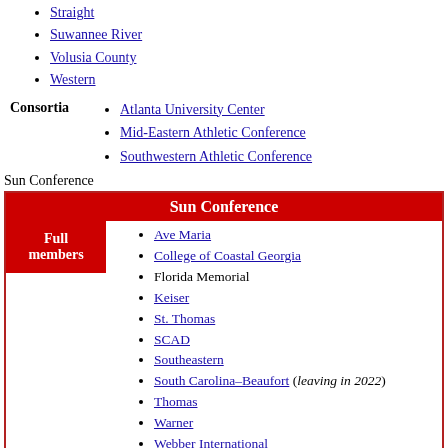Straight
Suwannee River
Volusia County
Western
Atlanta University Center
Mid-Eastern Athletic Conference
Southwestern Athletic Conference
Sun Conference
| Sun Conference |
| --- |
| Full members | Ave Maria, College of Coastal Georgia, Florida Memorial, Keiser, St. Thomas, SCAD, Southeastern, South Carolina–Beaufort (leaving in 2022), Thomas, Warner, Webber International |
College sports teams in Florida
College sports teams in Florida